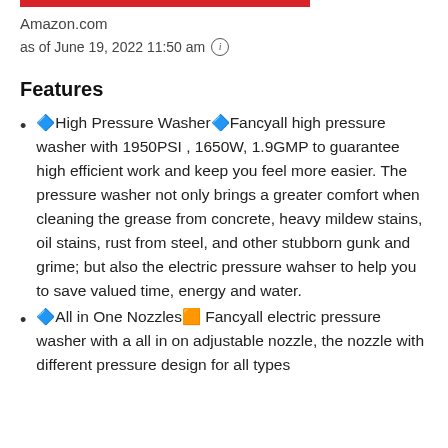Amazon.com
as of June 19, 2022 11:50 am
Features
🔷High Pressure Washer🔷Fancyall high pressure washer with 1950PSI , 1650W, 1.9GMP to guarantee high efficient work and keep you feel more easier. The pressure washer not only brings a greater comfort when cleaning the grease from concrete, heavy mildew stains, oil stains, rust from steel, and other stubborn gunk and grime; but also the electric pressure wahser to help you to save valued time, energy and water.
🔷All in One Nozzles🔲 Fancyall electric pressure washer with a all in on adjustable nozzle, the nozzle with different pressure design for all types